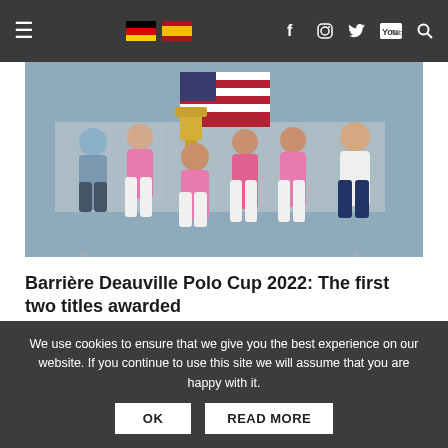Navigation bar with hamburger menu, German and Spanish flags, Facebook, Instagram, Twitter, YouTube and Search icons
[Figure (photo): Group of polo players in pink jerseys holding up a trophy, standing in front of a backdrop with sponsor banners, one man in blue shirt on left, one in white shirt on right]
Barrière Deauville Polo Cup 2022: The first two titles awarded
[Figure (illustration): Barrière Deauville Polo Cup banner with polo player illustration on left and text BARRIÈRE DEAUVILLE POLO CUP with website www.deauvillepoloclub.com on right, beige/tan background]
We use cookies to ensure that we give you the best experience on our website. If you continue to use this site we will assume that you are happy with it.
OK    READ MORE